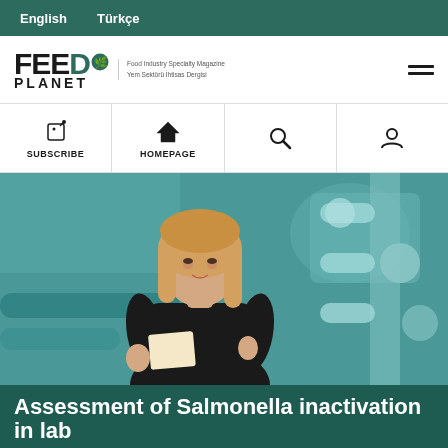English   Türkçe
[Figure (logo): Feed Planet logo with leaf icon and taglines: Food Industry Specialty Magazine / Yem Sektörü İhtisas Dergisi]
[Figure (screenshot): Navigation bar with Subscribe, Homepage icons, search and user account icons]
[Figure (photo): Woman with blonde hair wearing black top holding notebook standing in front of industrial food processing equipment with pipes and machinery]
Assessment of Salmonella inactivation in lab scale